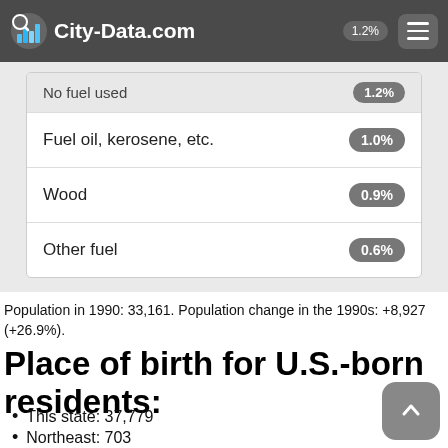City-Data.com
| Fuel type | Percentage |
| --- | --- |
| No fuel used | 1.2% |
| Fuel oil, kerosene, etc. | 1.0% |
| Wood | 0.9% |
| Other fuel | 0.6% |
Population in 1990: 33,161. Population change in the 1990s: +8,927 (+26.9%).
Place of birth for U.S.-born residents:
This state: 37,779
Northeast: 703
Midwest: 5,864